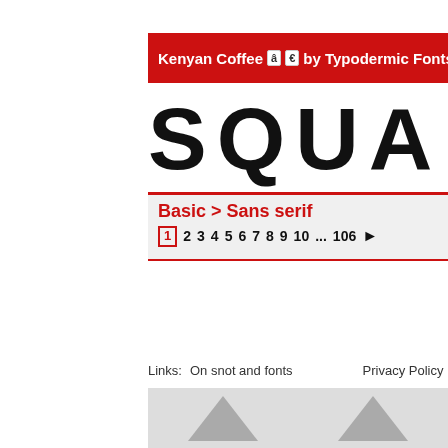Kenyan Coffee â € by Typodermic Fonts ↗
SQUAD
Basic > Sans serif
1 2 3 4 5 6 7 8 9 10 ... 106 ▶
Links: On snot and fonts   Privacy Policy - Contact